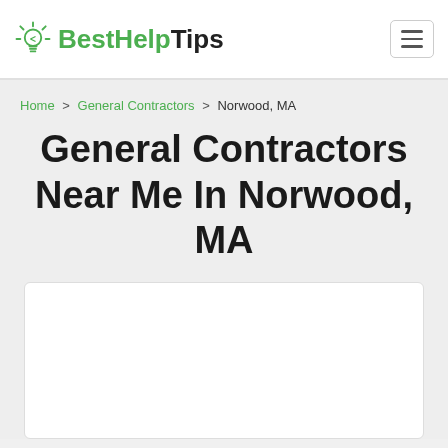BestHelpTips
Home > General Contractors > Norwood, MA
General Contractors Near Me In Norwood, MA
[Figure (other): White content card placeholder box]